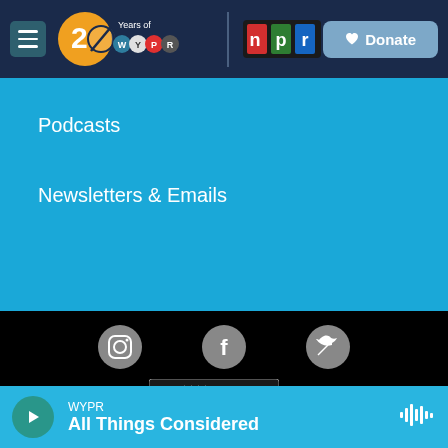[Figure (screenshot): WYPR 20 Years navigation bar with hamburger menu, WYPR 20th anniversary logo, NPR logo, and Donate button]
Podcasts
Newsletters & Emails
[Figure (screenshot): Footer section with Instagram, Facebook, Twitter social icons; PRX logo, Charity Navigator Four Star Charity badge, YouTube logo; American Public Media logo]
[Figure (screenshot): Player bar: WYPR - All Things Considered with play button and audio waveform icon]